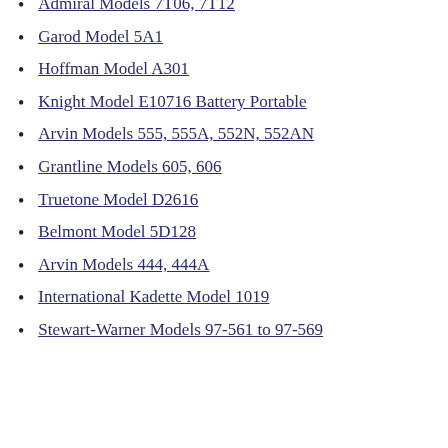Admiral Models 7T06, 7T12
Garod Model 5A1
Hoffman Model A301
Knight Model E10716 Battery Portable
Arvin Models 555, 555A, 552N, 552AN
Grantline Models 605, 606
Truetone Model D2616
Belmont Model 5D128
Arvin Models 444, 444A
International Kadette Model 1019
Stewart-Warner Models 97-561 to 97-569